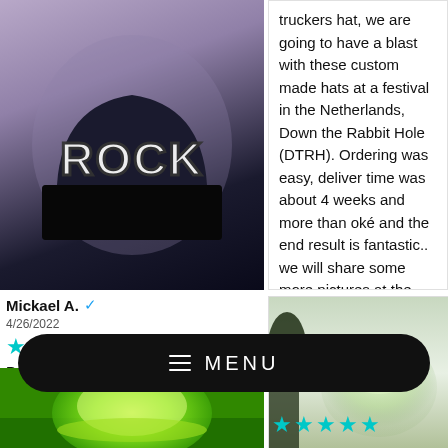[Figure (photo): Black trucker hat with ROCK graffiti lettering on a light reflective background]
truckers hat, we are going to have a blast with these custom made hats at a festival in the Netherlands, Down the Rabbit Hole (DTRH). Ordering was easy, deliver time was about 4 weeks and more than oké and the end result is fantastic.. we will share some more pictures at the festival, cheers!
Mickael A. ✓
4/26/2022
★★★★☆
Really cool. But the hat is a bit small. I would have preferred a bigger one.
[Figure (photo): Glowing translucent hat with green tones against a blurred background]
[Figure (photo): Green glowing hat on grass]
★★★★★
MENU